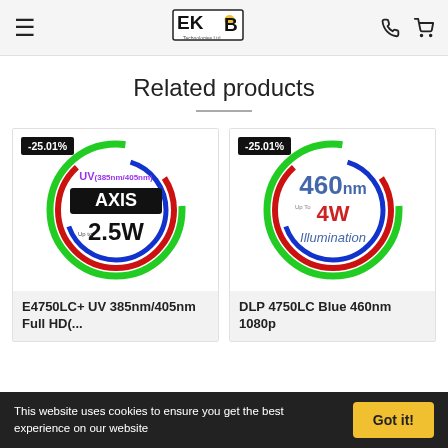EKB Technologies Ltd — navigation header
Related products
[Figure (illustration): Product image for E4750LC+ UV 385nm/405nm Full HD projector. Circular logo with red, green, blue swirling rings. Text: UV(385nm/405nm), AXIS logo, 2.5W. Discount badge: -25.01%]
[Figure (illustration): Product image for DLP 4750LC Blue 460nm 1080p projector. Circular logo with red, green, blue swirling rings. Text: 460nm, 4W, Illumination. Discount badge: -25.01%]
E4750LC+ UV 385nm/405nm Full HD(...
DLP 4750LC Blue 460nm 1080p
This website uses cookies to ensure you get the best experience on our website
Got it!